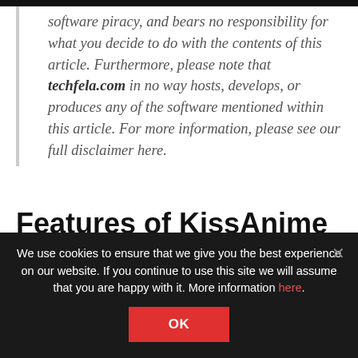software piracy, and bears no responsibility for what you decide to do with the contents of this article. Furthermore, please note that techfela.com in no way hosts, develops, or produces any of the software mentioned within this article. For more information, please see our full disclaimer here.
Features of KissAnime Kodi Addon?
As it is one the best and most popular Kodi App right
We use cookies to ensure that we give you the best experience on our website. If you continue to use this site we will assume that you are happy with it. More information here.